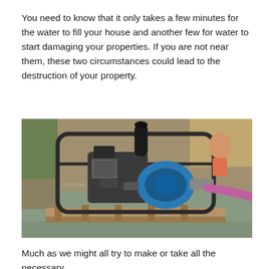You need to know that it only takes a few minutes for the water to fill your house and another few for water to start damaging your properties. If you are not near them, these two circumstances could lead to the destruction of your property.
[Figure (photo): A water pump (blue and black engine mounted in a metal frame) sitting on wooden pallets in flooded water, with a person visible in the background and a pink hose attached.]
Much as we might all try to make or take all the necessary